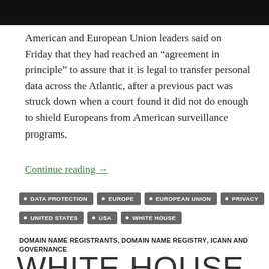[Figure (other): Black header bar at top of page]
American and European Union leaders said on Friday that they had reached an “agreement in principle” to assure that it is legal to transfer personal data across the Atlantic, after a previous pact was struck down when a court found it did not do enough to shield Europeans from American surveillance programs.
Continue reading →
DATA PROTECTION
EUROPE
EUROPEAN UNION
PRIVACY
UNITED STATES
USA
WHITE HOUSE
DOMAIN NAME REGISTRANTS, DOMAIN NAME REGISTRY, ICANN AND GOVERNANCE
WHITE HOUSE IP